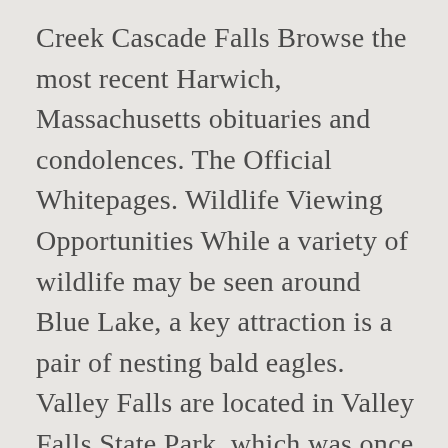Creek Cascade Falls Browse the most recent Harwich, Massachusetts obituaries and condolences. The Official Whitepages. Wildlife Viewing Opportunities While a variety of wildlife may be seen around Blue Lake, a key attraction is a pair of nesting bald eagles. Valley Falls are located in Valley Falls State Park, which was once the site of a lumber mill. Find Nichole Warner's phone number, address, and email on Spokeo, the leading people search directory for contact information and public records. Lakeview Sawmill 1600 Missouri Ave Lakeview, OR 97630 541.947.2018 Photos, Maps and Videos! If you're a Time Warner Cable video customer, sign in with your TWC ID for